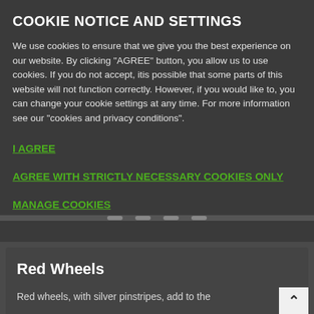COOKIE NOTICE AND SETTINGS
We use cookies to ensure that we give you the best experience on our website. By clicking "AGREE" button, you allow us to use cookies. If you do not accept, itis possible that some parts of this website will not function correctly. However, if you would like to, you can change your cookie settings at any time. For more information see our "cookies and privacy conditions".
I AGREE
AGREE WITH STRICTLY NECESSARY COOKIES ONLY
MANAGE COOKIES
Red Wheels
Red wheels, with silver pinstripes, add to the